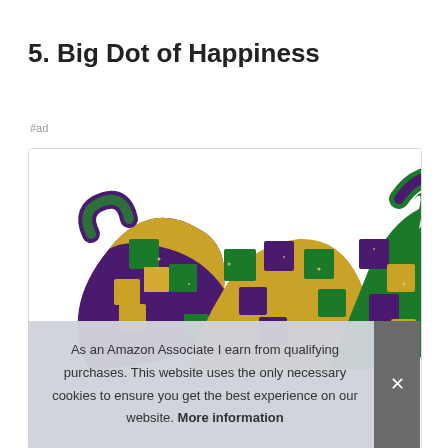5. Big Dot of Happiness
#ad
[Figure (photo): Mardi Gras glitter jester hats in purple, gold, and green harlequin pattern, shown cropped inside a white rounded-corner card]
As an Amazon Associate I earn from qualifying purchases. This website uses the only necessary cookies to ensure you get the best experience on our website. More information